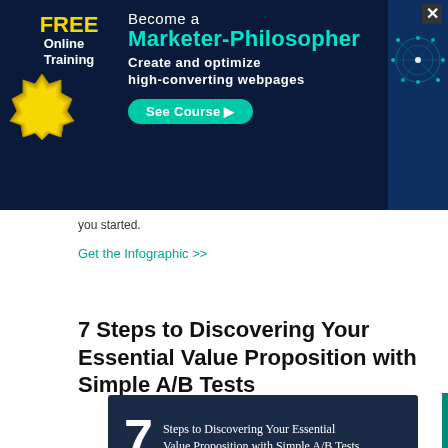[Figure (infographic): Advertisement banner: FREE Online Training – Become a Marketer-Philosopher, Create and optimize high-converting webpages. See Course button. Gold seal on left, tech brain graphic on right.]
you started.
Get the Infographic >>
7 Steps to Discovering Your Essential Value Proposition with Simple A/B Tests
[Figure (infographic): Dark navy infographic tile with large '7' and text 'Steps to Discovering Your Essential Value Proposition with Simple A/B Tests']